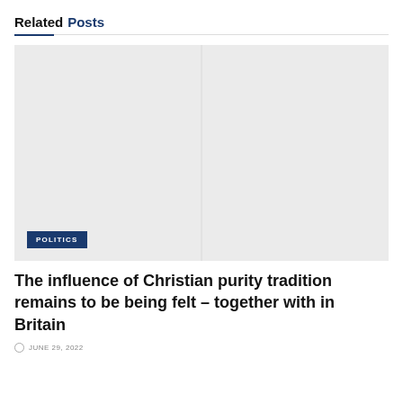Related Posts
[Figure (photo): Light gray placeholder image for an article thumbnail with a POLITICS badge overlay in the lower left corner]
The influence of Christian purity tradition remains to be being felt – together with in Britain
JUNE 29, 2022